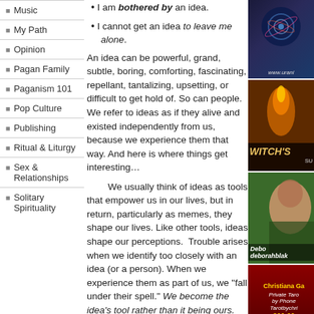I am bothered by an idea.
I cannot get an idea to leave me alone.
Music
My Path
Opinion
Pagan Family
Paganism 101
Pop Culture
Publishing
Ritual & Liturgy
Sex & Relationships
Solitary Spirituality
An idea can be powerful, grand, subtle, boring, comforting, fascinating, repellant, tantalizing, upsetting, or difficult to get hold of. So can people. We refer to ideas as if they alive and existed independently from us, because we experience them that way. And here is where things get interesting...
We usually think of ideas as tools that empower us in our lives, but in return, particularly as memes, they shape our lives. Like other tools, ideas shape our perceptions.  Trouble arises when we identify too closely with an idea (or a person). When we experience them as part of us, we “fall under their spell.” We become the idea’s tool rather than it being ours. The same thing can happen with our relations with other people.
[Figure (photo): Urania website advertisement with spiral galaxy design and url www.urani...]
[Figure (photo): Book cover advertisement for The Witch's Eight Paths of Power]
[Figure (photo): Photo of Deborah Blake with name overlay deborahblak...]
[Figure (photo): Christiana Ga advertisement for Private Tarot by Phone, Tarotbychri..., 866-99..., (866-99...)]